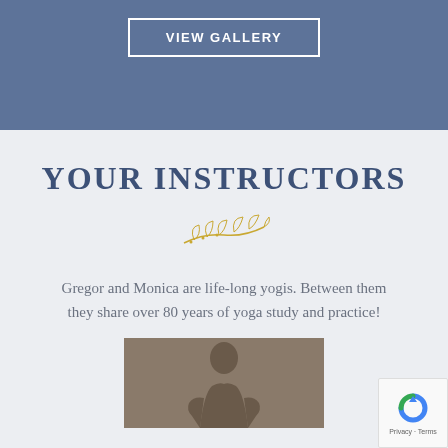VIEW GALLERY
YOUR INSTRUCTORS
[Figure (illustration): Decorative golden leaf/botanical ornament divider]
Gregor and Monica are life-long yogis. Between them they share over 80 years of yoga study and practice!
[Figure (photo): Photo of a yoga instructor, male, against a gray background]
[Figure (other): Google reCAPTCHA badge with Privacy and Terms links]